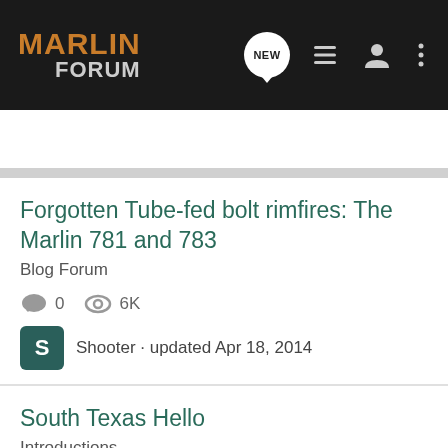MARLIN FORUM
Search Community
Forgotten Tube-fed bolt rimfires: The Marlin 781 and 783
Blog Forum
0  6K
Shooter · updated Apr 18, 2014
South Texas Hello
Introductions
10  3K
Vet47 · updated May 28, 2012